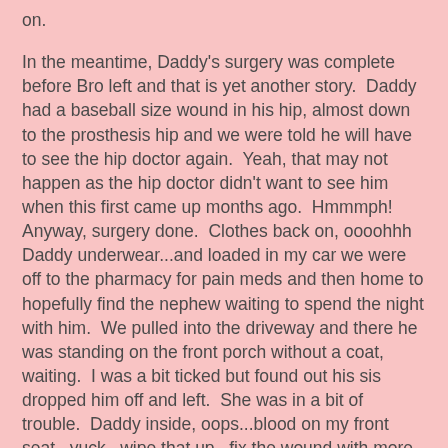on.
In the meantime, Daddy's surgery was complete before Bro left and that is yet another story.  Daddy had a baseball size wound in his hip, almost down to the prosthesis hip and we were told he will have to see the hip doctor again.  Yeah, that may not happen as the hip doctor didn't want to see him when this first came up months ago.  Hmmmph!  Anyway, surgery done.  Clothes back on, oooohhh Daddy underwear...and loaded in my car we were off to the pharmacy for pain meds and then home to hopefully find the nephew waiting to spend the night with him.  We pulled into the driveway and there he was standing on the front porch without a coat, waiting.  I was a bit ticked but found out his sis dropped him off and left.  She was in a bit of trouble.  Daddy inside, oops...blood on my front seat...yuck...wipe that up...fix the wound with more bandages for the seepage...call the doctor because that much blood...yuck...Yes, that can happen, it will let up but stay down.  Daddy wanted to fix a bologna sandwich but I told him he only gets up to pee and nephew/grandson will be his legs.  Sis is sick, Bro is at urgent care and I had to get to the last family dinner for A as she is flying to California the next day.  We were only about